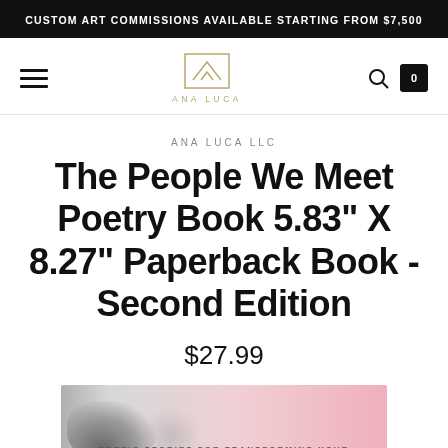CUSTOM ART COMMISSIONS AVAILABLE STARTING FROM $7,500
[Figure (logo): Ana Luca logo with geometric mountain/arch design and text ANA LUCA]
ANA LUCA LLC
The People We Meet Poetry Book 5.83" X 8.27" Paperback Book - Second Edition
$27.99
[Figure (photo): Partial book cover with pink gradient background and dark smudge, text POETIC STORIES FOR TRANSFORMING YOUR at bottom]